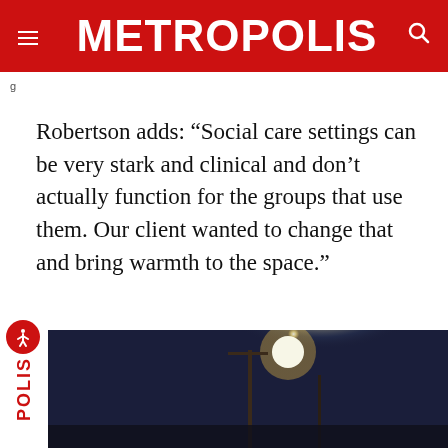METROPOLIS
Robertson adds: “Social care settings can be very stark and clinical and don’t actually function for the groups that use them. Our client wanted to change that and bring warmth to the space.”
[Figure (photo): Night scene photograph showing a tall pole or mast against a dark blue sky with a bright glowing light source, possibly a moon or lamp. The image is partially obscured. A sideways METROPOLIS logo in red appears on the left side of the bottom panel.]